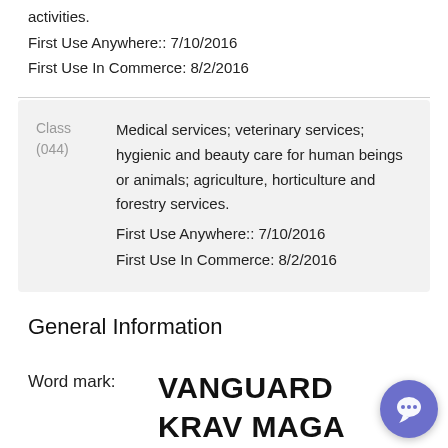activities.
First Use Anywhere:: 7/10/2016
First Use In Commerce: 8/2/2016
Class (044)
Medical services; veterinary services; hygienic and beauty care for human beings or animals; agriculture, horticulture and forestry services.
First Use Anywhere:: 7/10/2016
First Use In Commerce: 8/2/2016
General Information
Word mark:
VANGUARD KRAV MAGA SPECIALIST DIVISION HEADQUARTERS